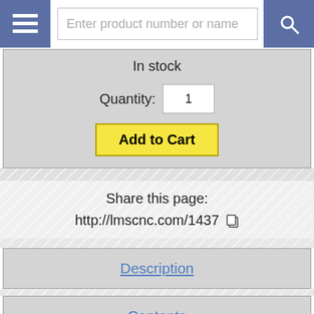Enter product number or name
In stock
Quantity: 1
Add to Cart
Share this page:
http://lmscnc.com/1437
Description
Contents